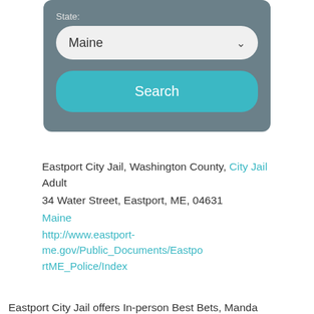[Figure (screenshot): A search UI card with a gray-teal background showing a state dropdown selector set to 'Maine' and a teal 'Search' button]
Eastport City Jail, Washington County, City Jail
Adult
34 Water Street, Eastport, ME, 04631
Maine
http://www.eastport-me.gov/Public_Documents/EastportME_Police/Index
Eastport City Jail offers In-person Best Bets, Mandatory...